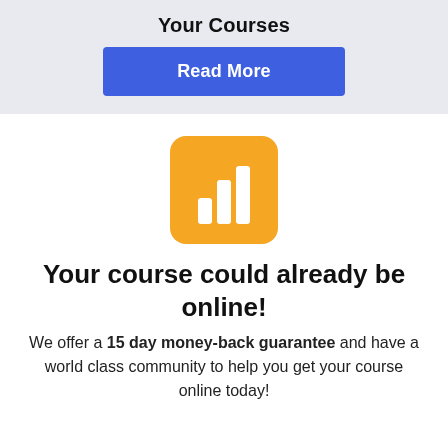Your Courses
[Figure (other): Blue 'Read More' button]
[Figure (logo): Orange rounded square icon with white bar chart graphic]
Your course could already be online!
We offer a 15 day money-back guarantee and have a world class community to help you get your course online today!